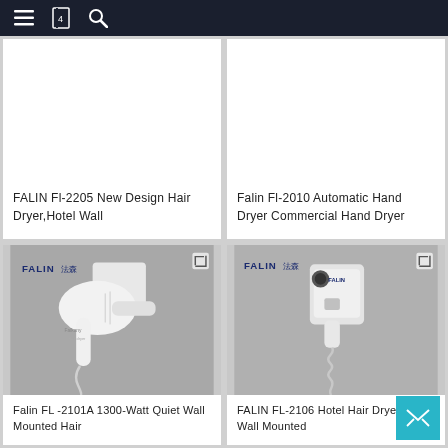Navigation bar with menu, bookmark, and search icons
FALIN Fl-2205 New Design Hair Dryer,Hotel Wall
Falin Fl-2010 Automatic Hand Dryer Commercial Hand Dryer
[Figure (photo): Wall-mounted white hair dryer on grey wall, FALIN brand logo visible, product model FL-2101A]
[Figure (photo): Wall-mounted white hair dryer with coiled cord on grey wall, FALIN brand logo visible, product model FL-2106]
Falin FL -2101A 1300-Watt Quiet Wall Mounted Hair
FALIN FL-2106 Hotel Hair Dryer Hotel Wall Mounted